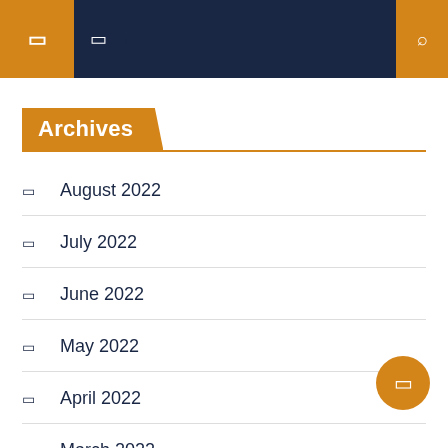Navigation header bar with icons
Archives
August 2022
July 2022
June 2022
May 2022
April 2022
March 2022
February 2022
January 2022